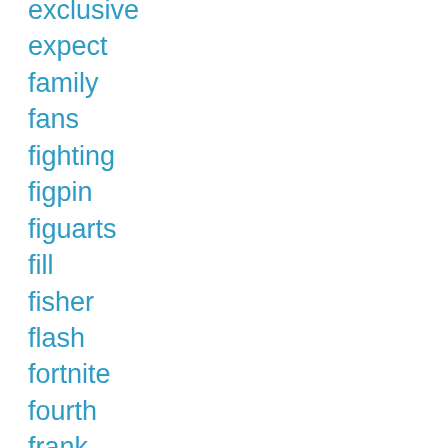exclusive
expect
family
fans
fighting
figpin
figuarts
fill
fisher
flash
fortnite
fourth
frank
full
funko
funniest
galaxy's
game
geeki
geeki (partial)